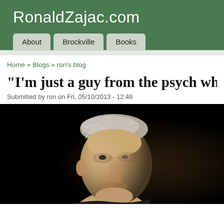RonaldZajac.com
About   Brockville   Books
Home » Blogs » ron's blog
“I’m just a guy from the psych who’s st
Submitted by ron on Fri, 05/10/2013 - 12:46
[Figure (photo): Black and white photo of an older man with grey hair, lit from the side against a dark background, looking upward slightly.]